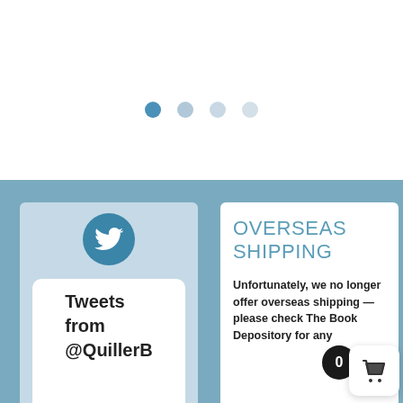[Figure (other): Carousel pagination dots: one dark blue filled dot followed by three progressively lighter dots]
[Figure (other): Twitter logo icon inside a blue circle, part of a Twitter feed widget card on a light blue background]
Tweets from @QuillerB
OVERSEAS SHIPPING
Unfortunately, we no longer offer overseas shipping — please check The Book Depository for any